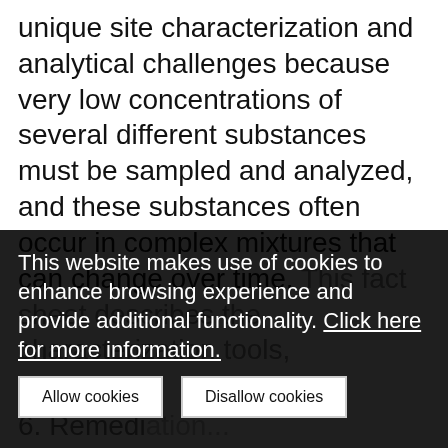unique site characterization and analytical challenges because very low concentrations of several different substances must be sampled and analyzed, and these substances often occur in complex mixtures that can change over time. This fact sheet describes the characterization tools, ... presage future developments ... in accompanying conference ... developed only recently.
This website makes use of cookies to enhance browsing experience and provide additional functionality. Click here for more information.
6. Remedi...